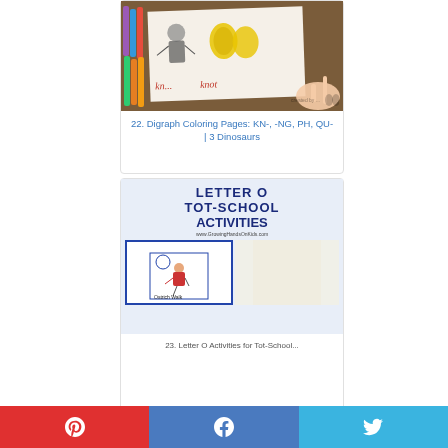[Figure (photo): Child's hand tracing 'knot' on a worksheet with colored markers nearby]
22. Digraph Coloring Pages: KN-, -NG, PH, QU- | 3 Dinosaurs
[Figure (infographic): Letter O Tot-School Activities promotional image from GrowingHandsOnKids.com showing a card with 'Ostrich Walk' and a tape roll]
23. Letter O Activities for Tot-School...